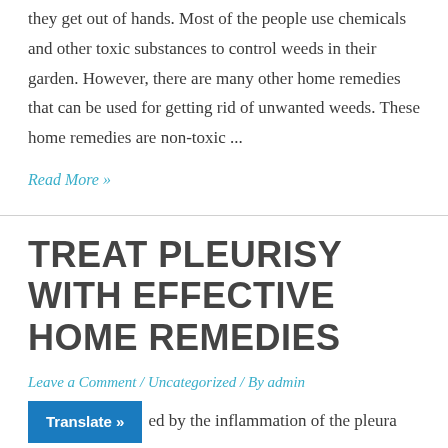they get out of hands. Most of the people use chemicals and other toxic substances to control weeds in their garden. However, there are many other home remedies that can be used for getting rid of unwanted weeds. These home remedies are non-toxic ...
Read More »
TREAT PLEURISY WITH EFFECTIVE HOME REMEDIES
Leave a Comment / Uncategorized / By admin
Translate » ed by the inflammation of the pleura